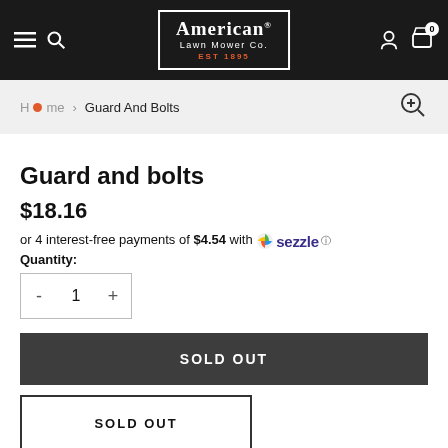American Lawn Mower Co. EST 1895
Home > Guard And Bolts
Guard and bolts
$18.16
or 4 interest-free payments of $4.54 with Sezzle
Quantity:
SOLD OUT
SOLD OUT